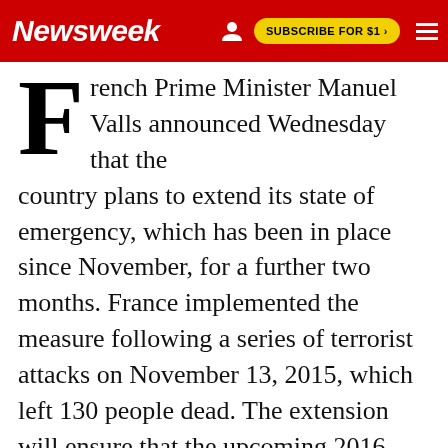Newsweek | SUBSCRIBE FOR $1 >
French Prime Minister Manuel Valls announced Wednesday that the country plans to extend its state of emergency, which has been in place since November, for a further two months. France implemented the measure following a series of terrorist attacks on November 13, 2015, which left 130 people dead. The extension will ensure that the upcoming 2016 UEFA European Championship will have additional protection.